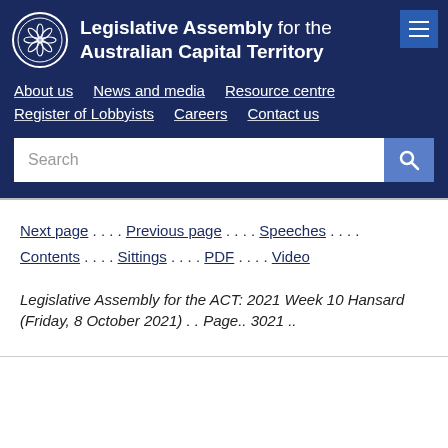Legislative Assembly for the Australian Capital Territory
About us  News and media  Resource centre  Register of Lobbyists  Careers  Contact us
Search
Next page . . . . Previous page . . . . Speeches . . . . Contents . . . . Sittings . . . . PDF . . . . Video
Legislative Assembly for the ACT: 2021 Week 10 Hansard (Friday, 8 October 2021) . . Page.. 3021 ..